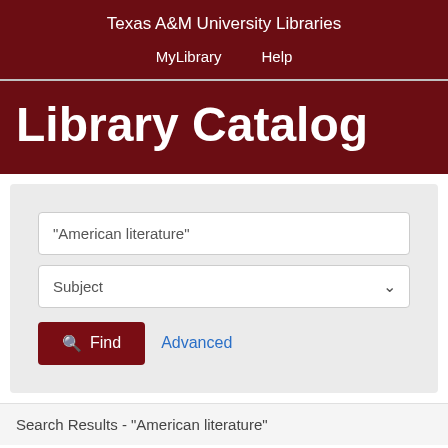Texas A&M University Libraries
MyLibrary  Help
Library Catalog
[Figure (screenshot): Search form with text input showing "American literature", a Subject dropdown, a Find button, and an Advanced link]
Search Results - "American literature"